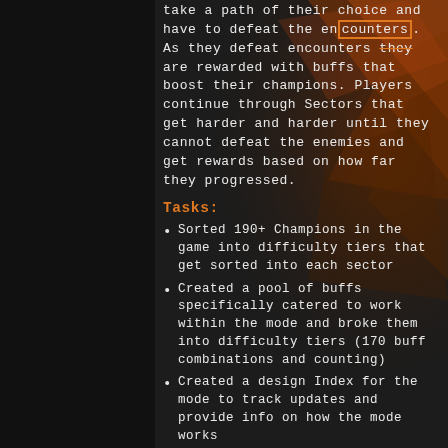take a path of their choice and have to defeat the encounters. As they defeat encounters they are rewarded with buffs that boost their champions. Players continue through Sectors that get harder and harder until they cannot defeat the enemies and get rewards based on how far they progressed.
Tasks:
Sorted 190+ Champions in the game into difficulty tiers that get sorted into each sector
Created a pool of buffs specifically catered to work within the mode and broke them into difficulty tiers (170 buff combinations and counting)
Created a design Index for the mode to track updates and provide info on how the mode works
Created the Layout